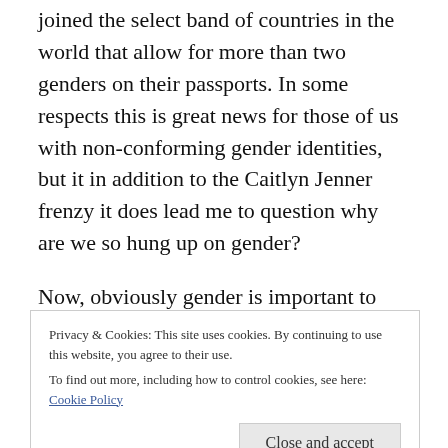joined the select band of countries in the world that allow for more than two genders on their passports. In some respects this is great news for those of us with non-conforming gender identities, but it in addition to the Caitlyn Jenner frenzy it does lead me to question why are we so hung up on gender?
Now, obviously gender is important to transgender people. They spend so much of their time agonising, thinking and analysing gender it is clearly an important part of our lives. This is because there is something wrong with the gender identity they have been assigned, the primary role of the
Privacy & Cookies: This site uses cookies. By continuing to use this website, you agree to their use.
To find out more, including how to control cookies, see here: Cookie Policy
other people's pancreas, they may curse its inability to